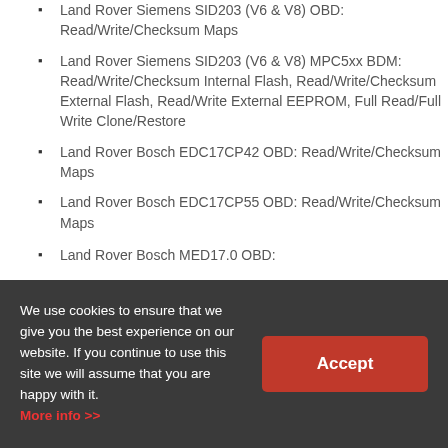Land Rover Siemens SID203 (V6 & V8) OBD: Read/Write/Checksum Maps
Land Rover Siemens SID203 (V6 & V8) MPC5xx BDM: Read/Write/Checksum Internal Flash, Read/Write/Checksum External Flash, Read/Write External EEPROM, Full Read/Full Write Clone/Restore
Land Rover Bosch EDC17CP42 OBD: Read/Write/Checksum Maps
Land Rover Bosch EDC17CP55 OBD: Read/Write/Checksum Maps
Land Rover Bosch MED17.0 OBD:
We use cookies to ensure that we give you the best experience on our website. If you continue to use this site we will assume that you are happy with it. More info >>